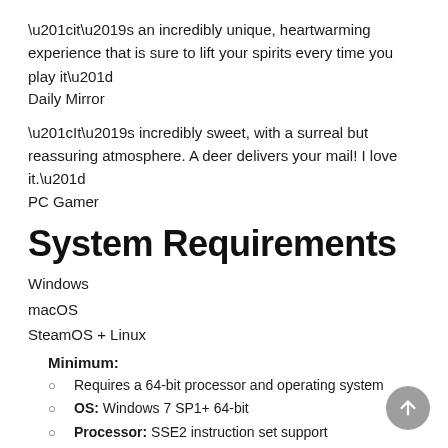“it’s an incredibly unique, heartwarming experience that is sure to lift your spirits every time you play it”
Daily Mirror
“It’s incredibly sweet, with a surreal but reassuring atmosphere. A deer delivers your mail! I love it.”
PC Gamer
System Requirements
Windows
macOS
SteamOS + Linux
Minimum:
Requires a 64-bit processor and operating system
OS: Windows 7 SP1+ 64-bit
Processor: SSE2 instruction set support
Memory: 4 GB RAM
Graphics: DX10 (shader model 4.0) capabilities